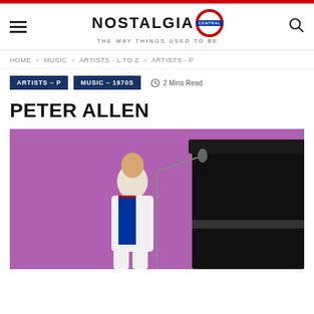Nostalgia Central — The way things used to be
HOME » MUSIC » ARTISTS - L TO Z » ARTISTS - P
ARTISTS – P | MUSIC – 1970S | 2 Mins Read
PETER ALLEN
[Figure (photo): Peter Allen performing on stage, seated at a grand piano, wearing a white suit with an Australian flag vest, singing into a microphone against a purple background]